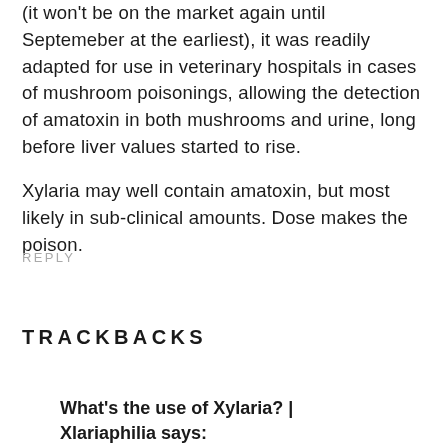(it won't be on the market again until Septemeber at the earliest), it was readily adapted for use in veterinary hospitals in cases of mushroom poisonings, allowing the detection of amatoxin in both mushrooms and urine, long before liver values started to rise.
Xylaria may well contain amatoxin, but most likely in sub-clinical amounts. Dose makes the poison.
REPLY
TRACKBACKS
What's the use of Xylaria? | Xlariaphilia says: